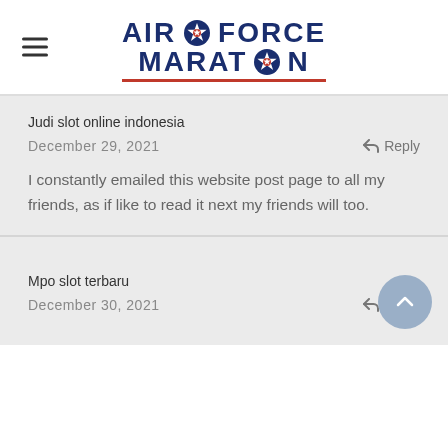[Figure (logo): Air Force Marathon logo with blue bold text 'AIR FORCE MARATHON' and star emblems, red underline, hamburger menu icon on left]
Judi slot online indonesia
December 29, 2021   Reply
I constantly emailed this website post page to all my friends, as if like to read it next my friends will too.
Mpo slot terbaru
December 30, 2021   Reply